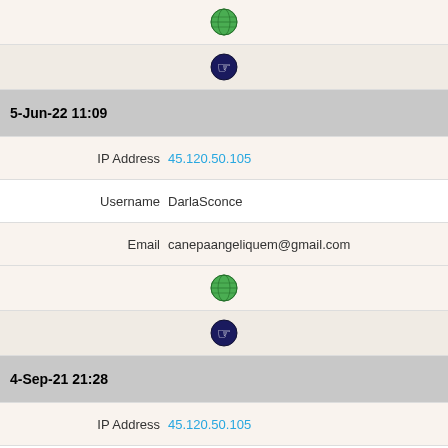[Figure (other): Globe icon (green earth)]
[Figure (other): Cookie/hand icon (dark blue)]
5-Jun-22 11:09
IP Address  45.120.50.105
Username  DarlaSconce
Email  canepaangeliquem@gmail.com
[Figure (other): Globe icon (green earth)]
[Figure (other): Cookie/hand icon (dark blue)]
4-Sep-21 21:28
IP Address  45.120.50.105
Username  DanielleBu
Email  ☣ daniellebuley22@ally.raytoy.com
[Figure (other): Globe icon (green earth)]
[Figure (other): Two cookie/hand icons (dark blue)]
Legend — Toxic IP address or "bad" email domain